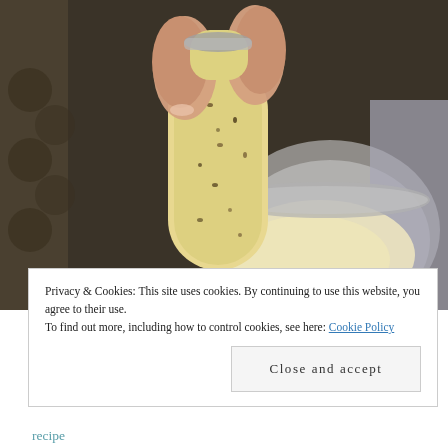[Figure (photo): Close-up photo of a hand holding a pale yellow cookie/biscuit with dark specks over a metal bowl containing cream or batter, with a blurred background of baking equipment.]
Privacy & Cookies: This site uses cookies. By continuing to use this website, you agree to their use.
To find out more, including how to control cookies, see here: Cookie Policy
Close and accept
recipe